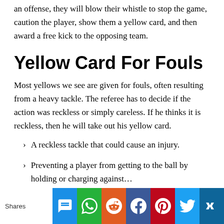an offense, they will blow their whistle to stop the game, caution the player, show them a yellow card, and then award a free kick to the opposing team.
Yellow Card For Fouls
Most yellows we see are given for fouls, often resulting from a heavy tackle. The referee has to decide if the action was reckless or simply careless. If he thinks it is reckless, then he will take out his yellow card.
A reckless tackle that could cause an injury.
Preventing a player from getting to the ball by holding or charging against…